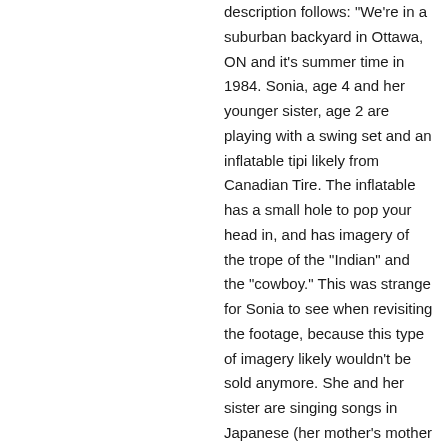description follows: "We're in a suburban backyard in Ottawa, ON and it's summer time in 1984. Sonia, age 4 and her younger sister, age 2 are playing with a swing set and an inflatable tipi likely from Canadian Tire. The inflatable has a small hole to pop your head in, and has imagery of the trope of the "Indian" and the "cowboy." This was strange for Sonia to see when revisiting the footage, because this type of imagery likely wouldn't be sold anymore. She and her sister are singing songs in Japanese (her mother's mother tongue) and Marathi (her father's mother tongue). The Japanese songs are ones she still recalls and sings to her own children. The Marathi songs are familiar, and Sonia recalls her father teaching them to her, but she doesn't